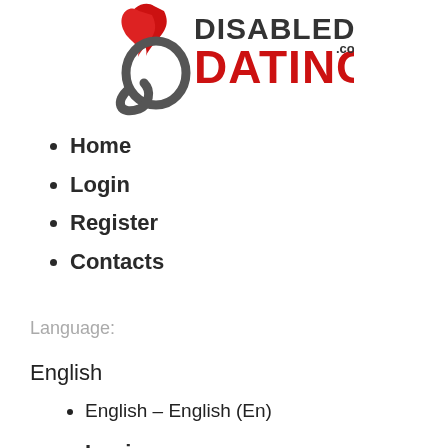[Figure (logo): Disabled Dating .com logo with a stylized figure in dark grey and red flame/spiral graphic, text DISABLED in dark grey and DATING in red with .com superscript]
Home
Login
Register
Contacts
Language:
English
English – English (En)
Login